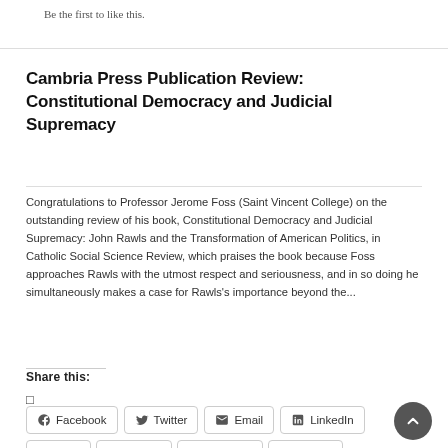Be the first to like this.
Cambria Press Publication Review: Constitutional Democracy and Judicial Supremacy
Congratulations to Professor Jerome Foss (Saint Vincent College) on the outstanding review of his book, Constitutional Democracy and Judicial Supremacy: John Rawls and the Transformation of American Politics, in Catholic Social Science Review, which praises the book because Foss approaches Rawls with the utmost respect and seriousness, and in so doing he simultaneously makes a case for Rawls's importance beyond the...
Share this:
□
Facebook
Twitter
Email
LinkedIn
Print
Tumblr
Pinterest
Reddit
Like this: